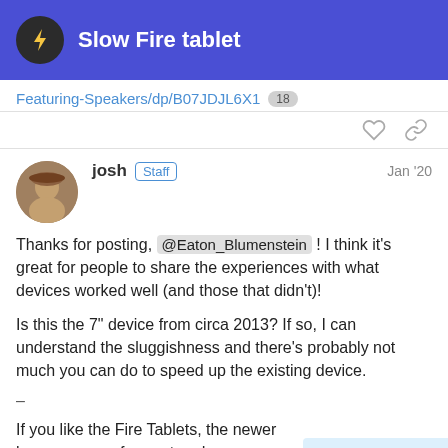Slow Fire tablet
Featuring-Speakers/dp/B07JDJL6X1  18
josh  Staff  Jan '20
Thanks for posting, @Eaton_Blumenstein ! I think it's great for people to share the experiences with what devices worked well (and those that didn't)!
Is this the 7" device from circa 2013? If so, I can understand the sluggishness and there's probably not much you can do to speed up the existing device.
–
If you like the Fire Tablets, the newer large more performant and are a very popular d
2 / 11